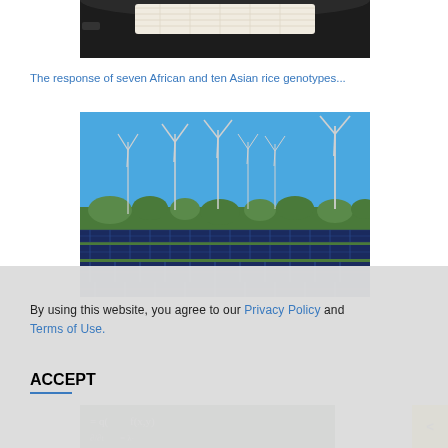[Figure (photo): Top portion of a black cast iron pan with white rice grains visible]
The response of seven African and ten Asian rice genotypes...
[Figure (photo): Solar panel farm in a green field with multiple wind turbines against a blue sky]
By using this website, you agree to our Privacy Policy and Terms of Use.
ACCEPT
[Figure (photo): Partial view of a chalkboard with mathematical equations]